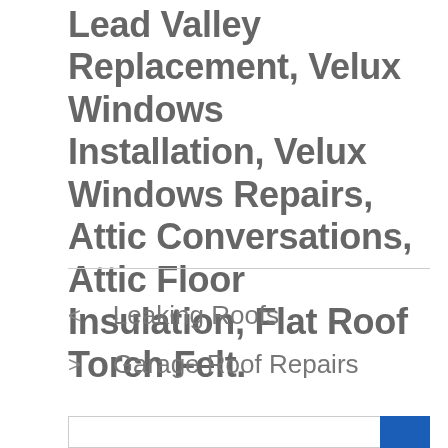Lead Valley Replacement, Velux Windows Installation, Velux Windows Repairs, Attic Conversations, Attic Floor Insulation, Flat Roof Torch Felt.
< Leaking Roofs
> Garage Roof Repairs